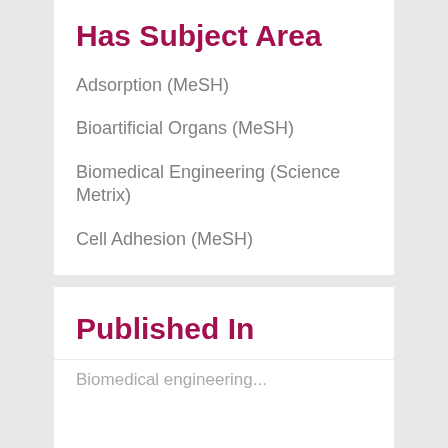Has Subject Area
Adsorption (MeSH)
Bioartificial Organs (MeSH)
Biomedical Engineering (Science Metrix)
Cell Adhesion (MeSH)
Cell Proliferation (MeSH)
MORE
Published In
Biomedical engineering...